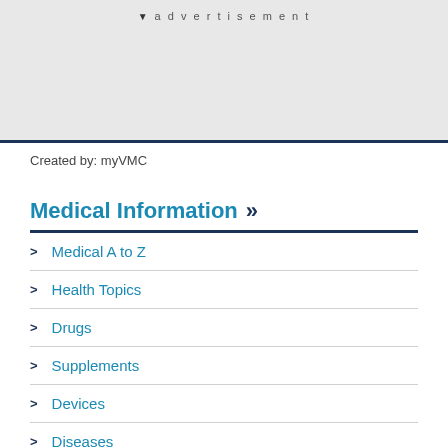advertisement
Created by: myVMC
Medical Information »
Medical A to Z
Health Topics
Drugs
Supplements
Devices
Diseases
Anatomy
Symptoms